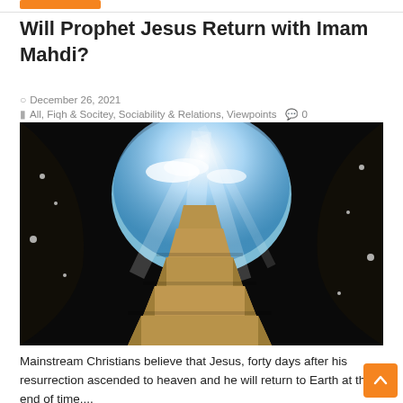Will Prophet Jesus Return with Imam Mahdi?
December 26, 2021
All, Fiqh & Socitey, Sociability & Relations, Viewpoints  0
[Figure (photo): Stone staircase leading upward through a dark cave opening toward a bright blue sky with light rays, symbolizing ascension or resurrection]
Mainstream Christians believe that Jesus, forty days after his resurrection ascended to heaven and he will return to Earth at the end of time....